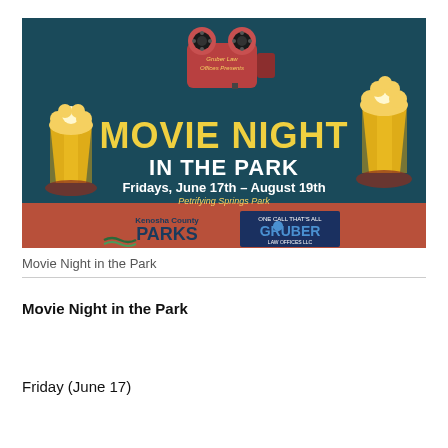[Figure (illustration): Movie Night in the Park event flyer. Dark teal background with a red film camera icon at top center. Text reads 'Gruber Law Offices Presents' on the camera. Large yellow text 'MOVIE NIGHT IN THE PARK'. Below: 'Fridays, June 17th – August 19th' and 'Petrifying Springs Park'. Two golden popcorn buckets on red circles at left and right sides. Bottom banner is rust/brown with 'Kenosha County PARKS' logo and 'ONE CALL THAT'S ALL GRUBER LAW OFFICES LLC' logo.]
Movie Night in the Park
Movie Night in the Park
Friday (June 17)